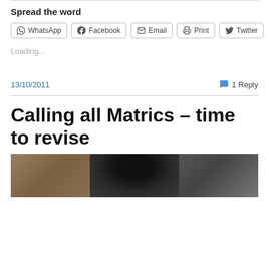Spread the word
WhatsApp  Facebook  Email  Print  Twitter
Loading...
13/10/2011
1 Reply
Calling all Matrics – time to revise
[Figure (photo): A photograph showing what appears to be a speaker and car interior dashboard components]